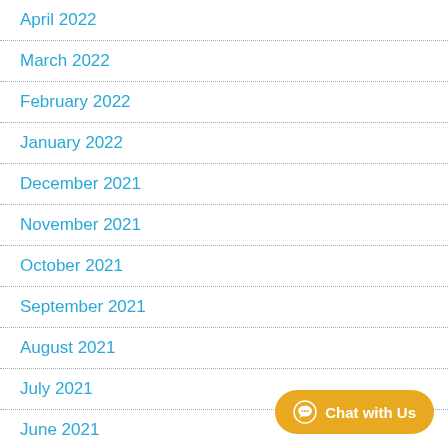April 2022
March 2022
February 2022
January 2022
December 2021
November 2021
October 2021
September 2021
August 2021
July 2021
June 2021